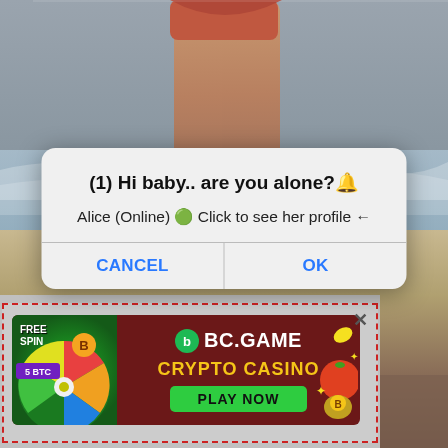[Figure (photo): Photo of person's legs at the beach with waves and sand, partially obscured by a dialog box overlay]
(1) Hi baby.. are you alone?🔔
Alice (Online) 🟢 Click to see her profile ←
CANCEL
OK
[Figure (screenshot): BC.GAME Crypto Casino advertisement banner with FREE SPIN, 5 BTC, CRYPTO CASINO, PLAY NOW text on dark red background, with a spin wheel on the left side. Contained in a dashed red border box with an X close button.]